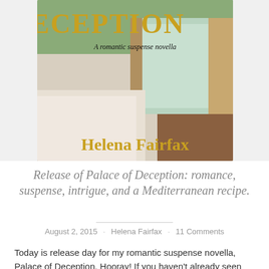[Figure (illustration): Book cover for 'Palace of Deception: A romantic suspense novella' by Helena Fairfax. Gold serif title text 'DECEPTION' at top, subtitle 'A romantic suspense novella' in black italic, background shows a room with window and curtains. Author name 'Helena Fairfax' in large gold serif font at bottom.]
Release of Palace of Deception: romance, suspense, intrigue, and a Mediterranean recipe.
August 2, 2015 · Helena Fairfax · 11 Comments
Today is release day for my romantic suspense novella, Palace of Deception. Hooray! If you haven't already seen